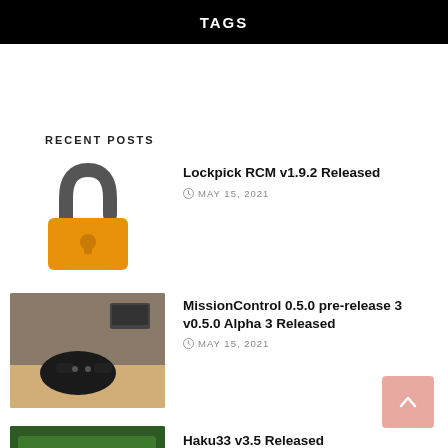TAGS
RECENT POSTS
[Figure (illustration): Orange padlock icon, unlocked]
Lockpick RCM v1.9.2 Released
MAY 15, 2021
[Figure (photo): Photo of a game controller on a surface with a TV in background]
MissionControl 0.5.0 pre-release 3 v0.5.0 Alpha 3 Released
MAY 15, 2021
[Figure (photo): Photo of a green circuit board with a chip]
Haku33 v3.5 Released
MAY 15, 2021
CATEGORIES